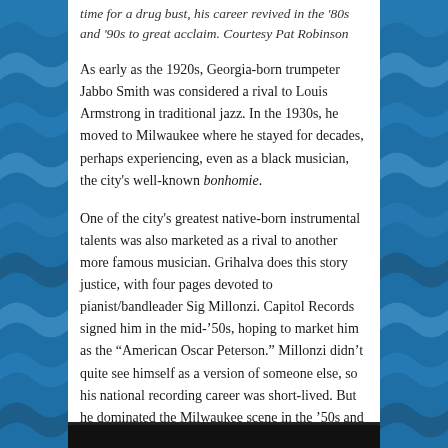time for a drug bust, his career revived in the '80s and '90s to great acclaim. Courtesy Pat Robinson
As early as the 1920s, Georgia-born trumpeter Jabbo Smith was considered a rival to Louis Armstrong in traditional jazz. In the 1930s, he moved to Milwaukee where he stayed for decades, perhaps experiencing, even as a black musician, the city's well-known bonhomie.
One of the city's greatest native-born instrumental talents was also marketed as a rival to another more famous musician. Grihalva does this story justice, with four pages devoted to pianist/bandleader Sig Millonzi. Capitol Records signed him in the mid-'50s, hoping to market him as the "American Oscar Peterson." Millonzi didn't quite see himself as a version of someone else, so his national recording career was short-lived. But he dominated the Milwaukee scene in the '50s and '60s.with his legendary trio and his big band, which would become the Jack Carr-Ron DeVillers Big Band, after Millonzi's death.
[Figure (photo): Bottom edge of a photograph, showing dark/black content]